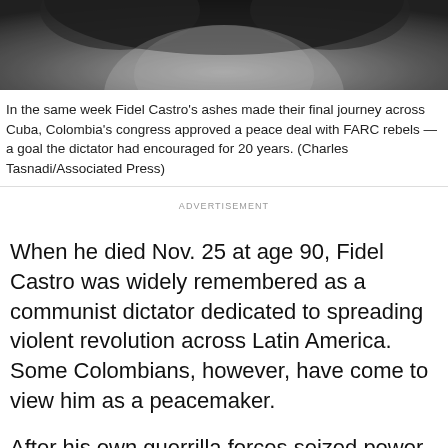[Figure (photo): Black and white close-up photograph of a person, cropped showing top of head and hair, grayscale tones]
In the same week Fidel Castro's ashes made their final journey across Cuba, Colombia's congress approved a peace deal with FARC rebels — a goal the dictator had encouraged for 20 years. (Charles Tasnadi/Associated Press)
ADVERTISEMENT
When he died Nov. 25 at age 90, Fidel Castro was widely remembered as a communist dictator dedicated to spreading violent revolution across Latin America. Some Colombians, however, have come to view him as a peacemaker.
After his own guerrilla forces seized power in Cuba in 1959, Castro provided moral authority and support to